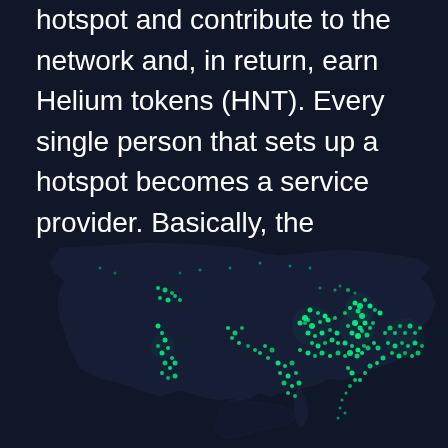hotspot and contribute to the network and, in return, earn Helium tokens (HNT). Every single person that sets up a hotspot becomes a service provider. Basically, the hotspots create the network infrastructure. Devices can connect and pay per usage to the network that we create.

Today, Helium has a strong community powering over 533k hotspots.
[Figure (map): Map of North America (USA and Canada) showing Helium hotspot locations as green glowing dots, concentrated heavily in the eastern US and coastal/urban areas, with sparser coverage in rural and western regions. The map has a dark navy background with bright green dots indicating hotspot density.]